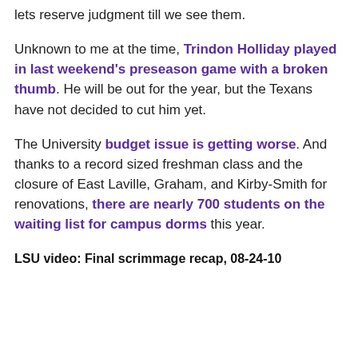lets reserve judgment till we see them.
Unknown to me at the time, Trindon Holliday played in last weekend’s preseason game with a broken thumb. He will be out for the year, but the Texans have not decided to cut him yet.
The University budget issue is getting worse. And thanks to a record sized freshman class and the closure of East Laville, Graham, and Kirby-Smith for renovations, there are nearly 700 students on the waiting list for campus dorms this year.
LSU video: Final scrimmage recap, 08-24-10